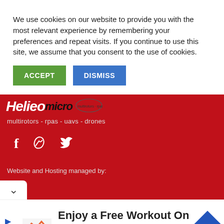We use cookies on our website to provide you with the most relevant experience by remembering your preferences and repeat visits. If you continue to use this site, we assume that you consent to the use of cookies.
[Figure (screenshot): Two buttons: green ACCEPT button and blue DISMISS button]
[Figure (logo): HelioMicro logo with tagline: multirotors - rpas - uavs - drones, on a red background with social icons (Facebook, RSS, Twitter) and text 'Website and Hosting managed by:']
[Figure (screenshot): Advertisement: Enjoy a Free Workout On Us - LA Fitness, with LA Fitness logo and blue navigation icon]